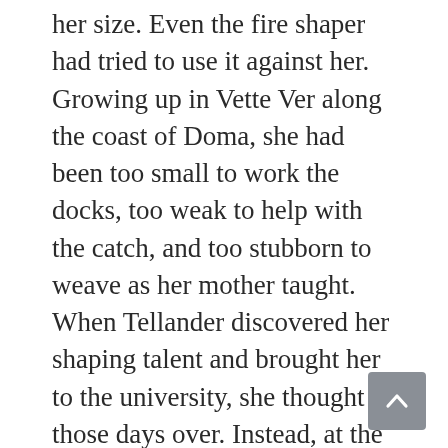her size. Even the fire shaper had tried to use it against her. Growing up in Vette Ver along the coast of Doma, she had been too small to work the docks, too weak to help with the catch, and too stubborn to weave as her mother taught. When Tellander discovered her shaping talent and brought her to the university, she thought those days over. Instead, at the university, her size created new challenges.
Finding her wind was supposed to help, but even that seemed beyond her.